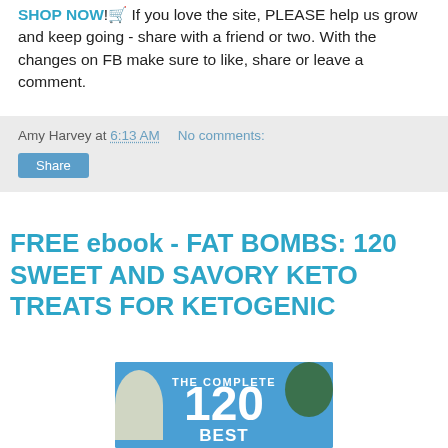SHOP NOW!🛒 If you love the site, PLEASE help us grow and keep going - share with a friend or two. With the changes on FB make sure to like, share or leave a comment.
Amy Harvey at 6:13 AM   No comments:
Share
FREE ebook - FAT BOMBS: 120 SWEET AND SAVORY KETO TREATS FOR KETOGENIC
[Figure (photo): Book cover image with blue background showing 'THE COMPLETE 120 BEST' text with food photos around the edges]